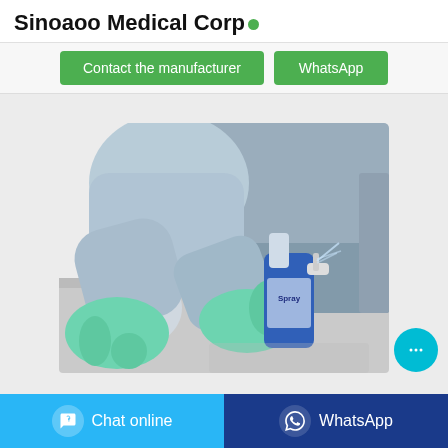Sinoaoo Medical Corp
Contact the manufacturer | WhatsApp
[Figure (photo): Person wearing green rubber gloves kneeling on floor next to a gray sofa, holding a spray cleaning bottle]
Chat online | WhatsApp